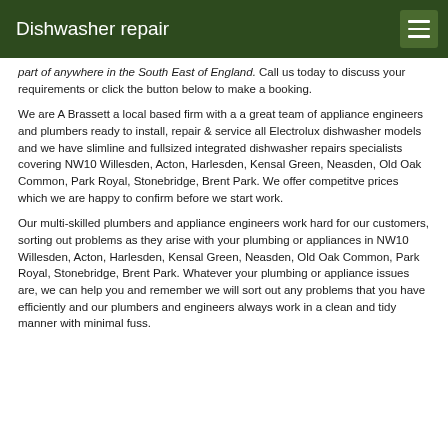Dishwasher repair
part of anywhere in the South East of England. Call us today to discuss your requirements or click the button below to make a booking.
We are A Brassett a local based firm with a a great team of appliance engineers and plumbers ready to install, repair & service all Electrolux dishwasher models and we have slimline and fullsized integrated dishwasher repairs specialists covering NW10 Willesden, Acton, Harlesden, Kensal Green, Neasden, Old Oak Common, Park Royal, Stonebridge, Brent Park. We offer competitve prices which we are happy to confirm before we start work.
Our multi-skilled plumbers and appliance engineers work hard for our customers, sorting out problems as they arise with your plumbing or appliances in NW10 Willesden, Acton, Harlesden, Kensal Green, Neasden, Old Oak Common, Park Royal, Stonebridge, Brent Park. Whatever your plumbing or appliance issues are, we can help you and remember we will sort out any problems that you have efficiently and our plumbers and engineers always work in a clean and tidy manner with minimal fuss.